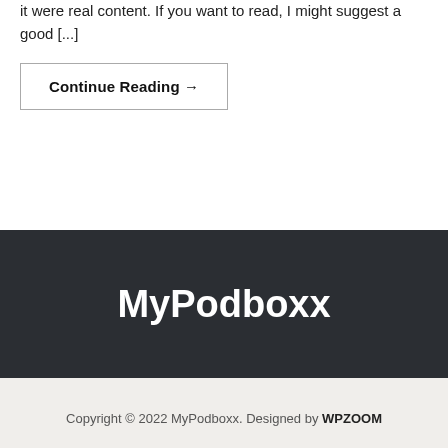it were real content. If you want to read, I might suggest a good [...]
Continue Reading →
MyPodboxx
Copyright © 2022 MyPodboxx. Designed by WPZOOM